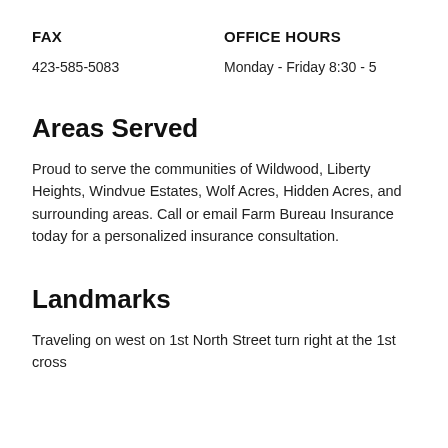FAX
OFFICE HOURS
423-585-5083
Monday - Friday 8:30 - 5
Areas Served
Proud to serve the communities of Wildwood, Liberty Heights, Windvue Estates, Wolf Acres, Hidden Acres, and surrounding areas. Call or email Farm Bureau Insurance today for a personalized insurance consultation.
Landmarks
Traveling on west on 1st North Street turn right at the 1st cross